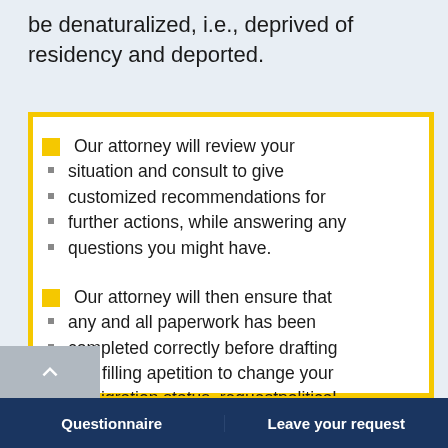be denaturalized, i.e., deprived of residency and deported.
Our attorney will review your situation and consult to give customized recommendations for further actions, while answering any questions you might have.
Our attorney will then ensure that any and all paperwork has been completed correctly before drafting and filling apetition to change your immigration status, requestpolitical asylum, or prepare any other
Questionnaire | Leave your request